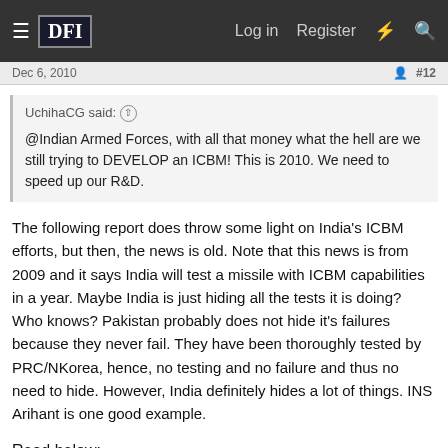DFI — Log in  Register
Dec 6, 2010  #12
UchihaCG said: ↑
@Indian Armed Forces, with all that money what the hell are we still trying to DEVELOP an ICBM! This is 2010. We need to speed up our R&D.
The following report does throw some light on India's ICBM efforts, but then, the news is old. Note that this news is from 2009 and it says India will test a missile with ICBM capabilities in a year. Maybe India is just hiding all the tests it is doing? Who knows? Pakistan probably does not hide it's failures because they never fail. They have been thoroughly tested by PRC/NKorea, hence, no testing and no failure and thus no need to hide. However, India definitely hides a lot of things. INS Arihant is one good example.
Read below: